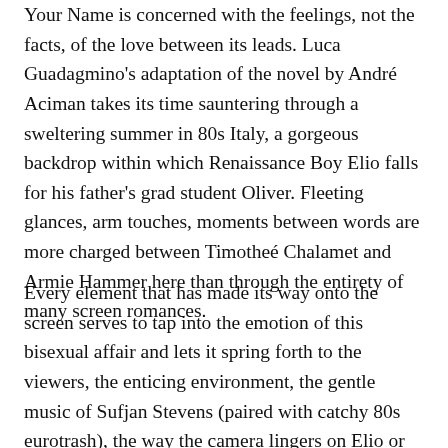Your Name is concerned with the feelings, not the facts, of the love between its leads. Luca Guadagmino's adaptation of the novel by André Aciman takes its time sauntering through a sweltering summer in 80s Italy, a gorgeous backdrop within which Renaissance Boy Elio falls for his father's grad student Oliver. Fleeting glances, arm touches, moments between words are more charged between Timotheé Chalamet and Armie Hammer here than through the entirety of many screen romances.
Every element that has made its way onto the screen serves to tap into the emotion of this bisexual affair and lets it spring forth to the viewers, the enticing environment, the gentle music of Sufjan Stevens (paired with catchy 80s eurotrash), the way the camera lingers on Elio or Oliver, replicating how they can't